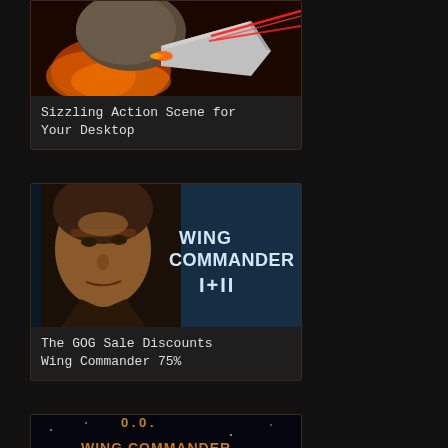[Figure (photo): Spacecraft action scene with laser beams and fire, space battle screenshot]
Sizzling Action Scene for Your Desktop
[Figure (photo): Wing Commander I+II game cover showing character face and game logo]
The GOG Sale Discounts Wing Commander 75%
[Figure (photo): Wing Commander: The Price of Freedom Remastered logo/title screen]